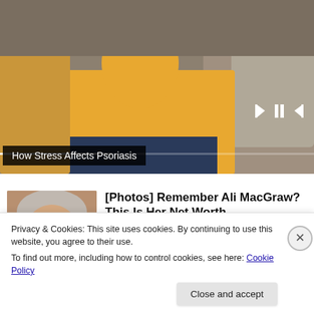[Figure (screenshot): Video player showing a person in a yellow sweater sitting on a couch with fists clenched. Media controls (previous, pause, next) visible in top-right area. Progress bar visible. Title bar reads 'How Stress Affects Psoriasis'.]
How Stress Affects Psoriasis
[Figure (photo): Thumbnail photo of Ali MacGraw smiling, gray hair, wearing earrings.]
[Photos] Remember Ali MacGraw? This Is Her Net Worth.
Fruitiy
Privacy & Cookies: This site uses cookies. By continuing to use this website, you agree to their use.
To find out more, including how to control cookies, see here: Cookie Policy